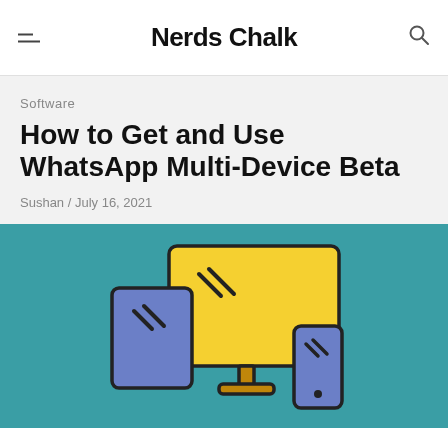Nerds Chalk
Software
How to Get and Use WhatsApp Multi-Device Beta
Sushan / July 16, 2021
[Figure (illustration): Illustration of multiple devices (laptop, desktop monitor, and smartphone) on a teal background, representing multi-device usage]